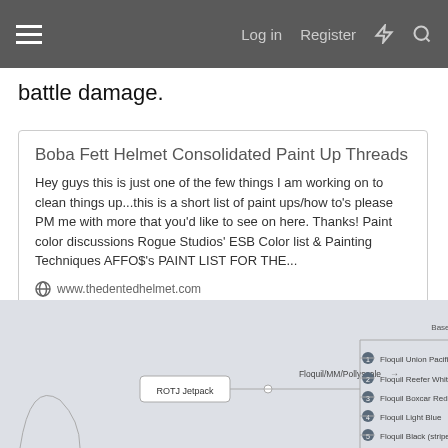Log in  Register
battle damage.
Boba Fett Helmet Consolidated Paint Up Threads
Hey guys this is just one of the few things I am working on to clean things up...this is a short list of paint ups/how to's please PM me with more that you'd like to see on here. Thanks! Paint color discussions Rogue Studios' ESB Color list & Painting Techniques AFFO$'s PAINT LIST FOR THE...
www.thedentedhelmet.com
[Figure (flowchart): Mind map / flowchart diagram showing ROTJ Jetpack paint scheme. Floquil/MM/Pollyscale branch leads to nodes including: Primer, Base Coat (Floquil Bright Silver, Krylon Crystal Clear Gloss optional), numbered items 1-Floquil Union Pacific Armour Yellow, 2-Floquil Reefer White, 3-Floquil Boxcar Red, 4-Floquil Light Blue, 5-Floquil Black (stripes)]